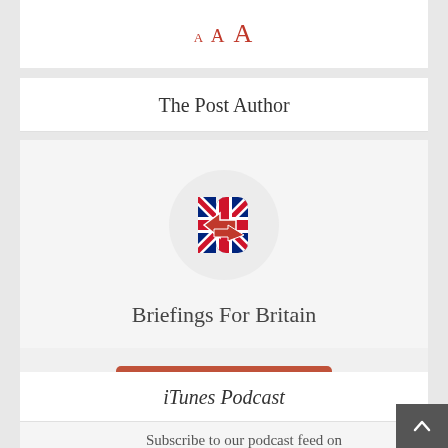A A A
The Post Author
[Figure (logo): Briefings For Britain logo: circular light gray background with red arrows and Union Jack B symbol]
Briefings For Britain
View all posts
iTunes Podcast
Subscribe to our podcast feed on